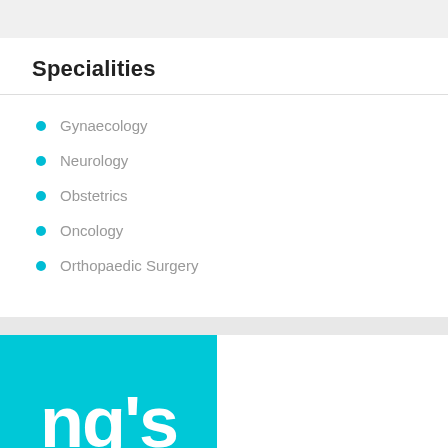Specialities
Gynaecology
Neurology
Obstetrics
Oncology
Orthopaedic Surgery
[Figure (logo): Cyan/teal background with white text showing partial logo text "ng's"]